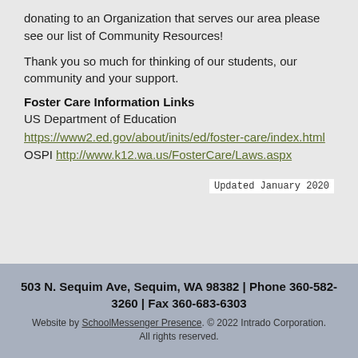donating to an Organization that serves our area please see our list of Community Resources!
Thank you so much for thinking of our students, our community and your support.
Foster Care Information Links
US Department of Education https://www2.ed.gov/about/inits/ed/foster-care/index.html
OSPI http://www.k12.wa.us/FosterCare/Laws.aspx
Updated January 2020
503 N. Sequim Ave, Sequim, WA 98382 | Phone 360-582-3260 | Fax 360-683-6303
Website by SchoolMessenger Presence. © 2022 Intrado Corporation. All rights reserved.